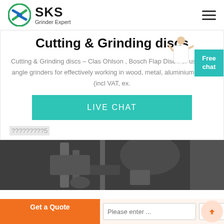[Figure (logo): SKS Grinder Expert logo with circular emblem and hamburger menu icon]
Cutting & Grinding discs
Cutting & Grinding discs - Clas Ohlson , Bosch Flap Disc For use with angle grinders for effectively working in wood, metal, aluminium, , 399 (incl VAT, ex.
[Figure (screenshot): Teal Live Chat button]
?????????5
[Figure (photo): Industrial machinery or grinder equipment photo in dark tones]
[Figure (screenshot): Bottom bar with orange Get a Quote button, chat input, WhatsApp label, and scroll-to-top button]